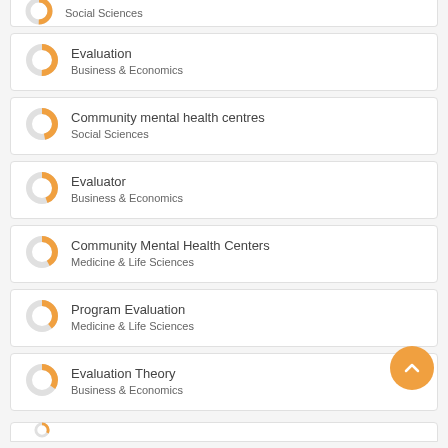Social Sciences
Evaluation
Business & Economics
Community mental health centres
Social Sciences
Evaluator
Business & Economics
Community Mental Health Centers
Medicine & Life Sciences
Program Evaluation
Medicine & Life Sciences
Evaluation Theory
Business & Economics
(partial item)